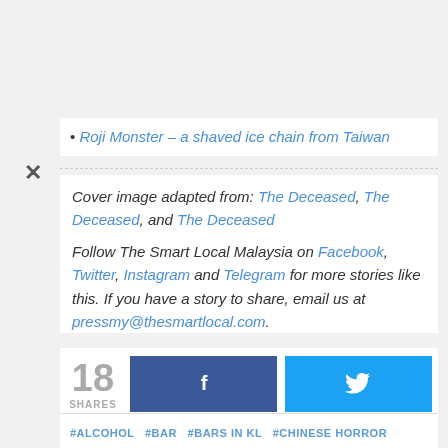Roji Monster – a shaved ice chain from Taiwan
Cover image adapted from: The Deceased, The Deceased, and The Deceased
Follow The Smart Local Malaysia on Facebook, Twitter, Instagram and Telegram for more stories like this. If you have a story to share, email us at pressmy@thesmartlocal.com.
18 SHARES [Facebook share button] [Twitter share button]
#ALCOHOL  #BAR  #BARS IN KL  #CHINESE HORROR  #COCKTAILS  #FOOD  #FOOD GUIDES  #GHOST  #HORROR  #PETALING STREET  #THE